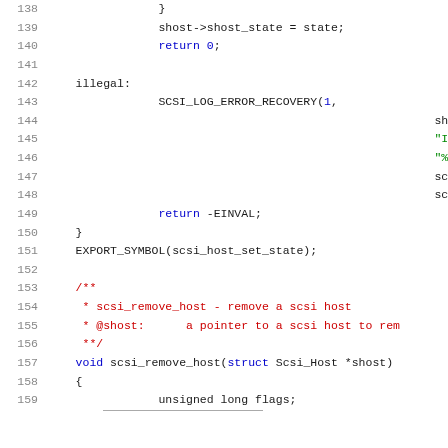Source code listing, lines 138-159, C kernel code for SCSI host management